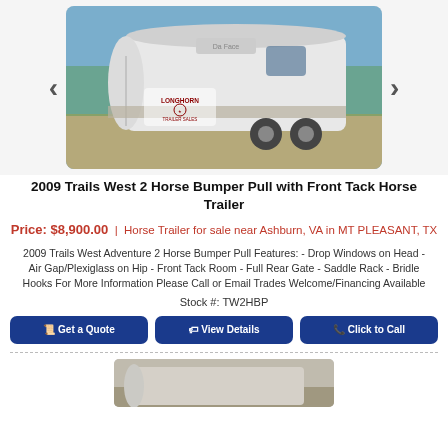[Figure (photo): White horse trailer (2009 Trails West) photographed outdoors on gravel, with Longhorn Trailer Sales watermark, shown in an image carousel with left and right arrows]
2009 Trails West 2 Horse Bumper Pull with Front Tack Horse Trailer
Price: $8,900.00  |  Horse Trailer for sale near Ashburn, VA in MT PLEASANT, TX
2009 Trails West Adventure 2 Horse Bumper Pull Features: - Drop Windows on Head - Air Gap/Plexiglass on Hip - Front Tack Room - Full Rear Gate - Saddle Rack - Bridle Hooks For More Information Please Call or Email Trades Welcome/Financing Available
Stock #: TW2HBP
Get a Quote | View Details | Click to Call
[Figure (photo): Partial photo of a horse trailer visible at the bottom of the page]